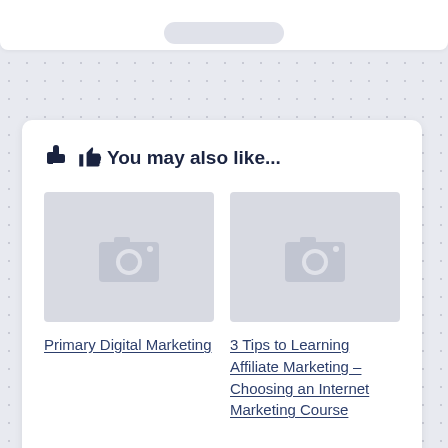👍 You may also like...
[Figure (photo): Placeholder image with camera icon for Primary Digital Marketing post]
[Figure (photo): Placeholder image with camera icon for 3 Tips to Learning Affiliate Marketing post]
Primary Digital Marketing
3 Tips to Learning Affiliate Marketing – Choosing an Internet Marketing Course